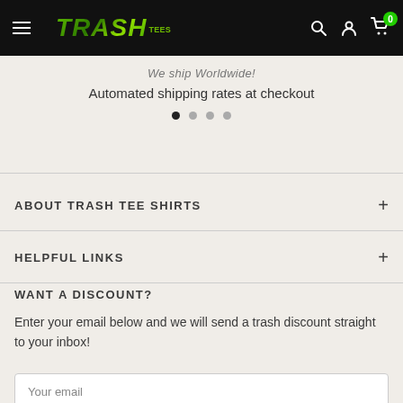TRASH TEES - Navigation bar with hamburger menu, logo, search, account, and cart (0)
Automated shipping rates at checkout
ABOUT TRASH TEE SHIRTS
HELPFUL LINKS
WANT A DISCOUNT?
Enter your email below and we will send a trash discount straight to your inbox!
Your email